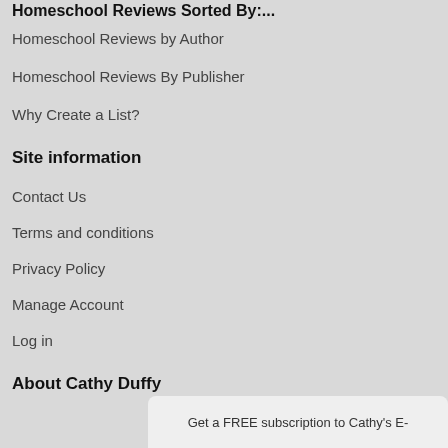Homeschool Reviews by Author
Homeschool Reviews By Publisher
Why Create a List?
Site information
Contact Us
Terms and conditions
Privacy Policy
Manage Account
Log in
About Cathy Duffy
About Cathy Duffy
Updates for 102 Top Picks
Ordering 102 Top Picks
Get a FREE subscription to Cathy's E-